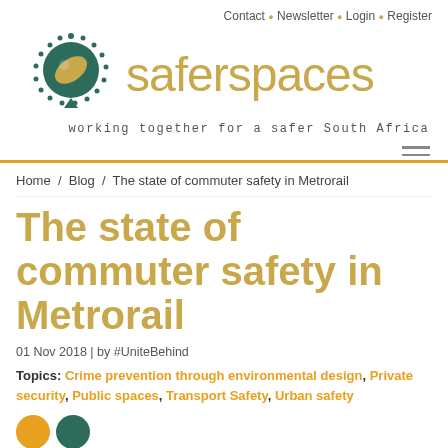Contact • Newsletter • Login • Register
[Figure (logo): Saferspaces logo: circular icon with leaf design in teal/green, dotted border, speech bubble tail, with text 'saferspaces' in olive/gold color and tagline 'working together for a safer South Africa']
Home / Blog / The state of commuter safety in Metrorail
The state of commuter safety in Metrorail
01 Nov 2018 | by #UniteBehind
Topics: Crime prevention through environmental design, Private security, Public spaces, Transport Safety, Urban safety